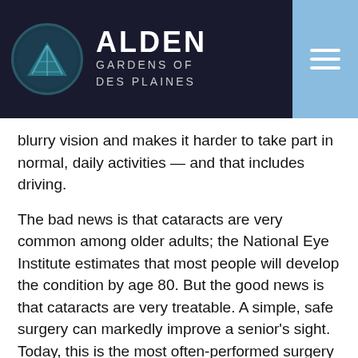ALDEN GARDENS OF DES PLAINES
blurry vision and makes it harder to take part in normal, daily activities — and that includes driving.
The bad news is that cataracts are very common among older adults; the National Eye Institute estimates that most people will develop the condition by age 80. But the good news is that cataracts are very treatable. A simple, safe surgery can markedly improve a senior's sight. Today, this is the most often-performed surgery in America, and that's paying off. A study from Cardiff University showed that seniors who get the surgery improve their long-term brain health. Harvard Medical School experts even report that cataract surgery has increased life expectancy, on a par with medical advances in cardiac care!
And several studies reveal that cataract surgery lowers the